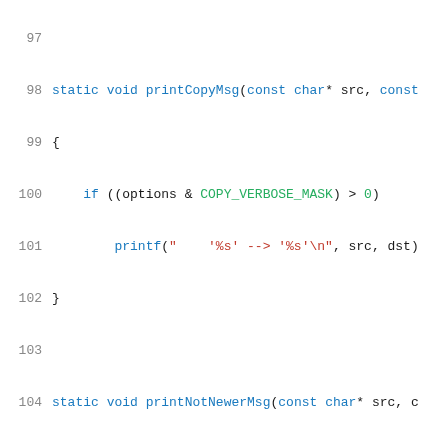Source code lines 97-117 showing C functions printCopyMsg, printNotNewerMsg, a block comment, and beginning of copyFileContents function.